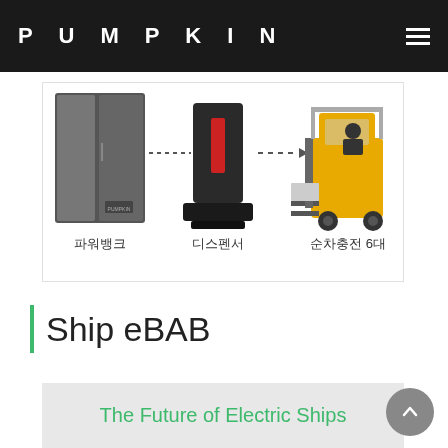PUMPKIN
[Figure (infographic): Diagram showing three components: 파워뱅크 (power bank cabinet, gray), connected by dotted arrow to 디스펜서 (dispenser, dark charging unit), connected by dashed arrow to 순차충전 6대 (sequential charging 6 units, yellow forklift). Korean labels below each component.]
Ship eBAB
[Figure (infographic): Gray banner with green text: The Future of Electric Ships]